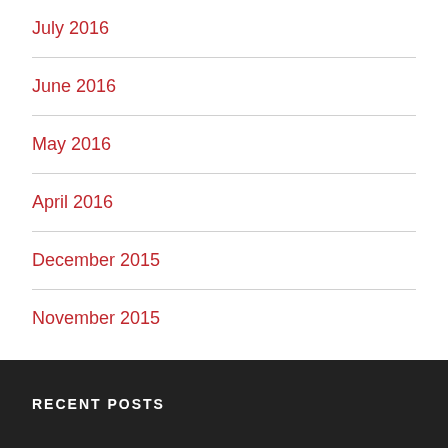July 2016
June 2016
May 2016
April 2016
December 2015
November 2015
RECENT POSTS